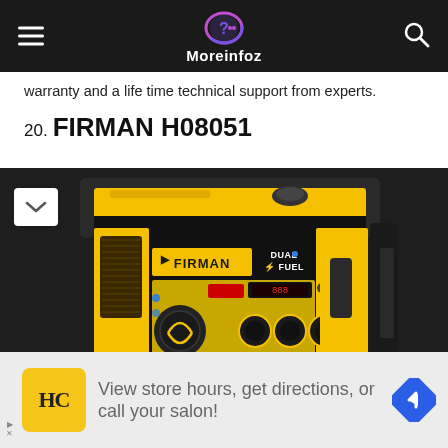Moreinfoz
warranty and a life time technical support from experts.
20. FIRMAN H08051
[Figure (photo): FIRMAN H08051 dual fuel generator, close-up of front panel showing FIRMAN DUAL FUEL branding, control panel with outlets, switches, and yellow/black housing with carry handle]
View store hours, get directions, or call your salon!